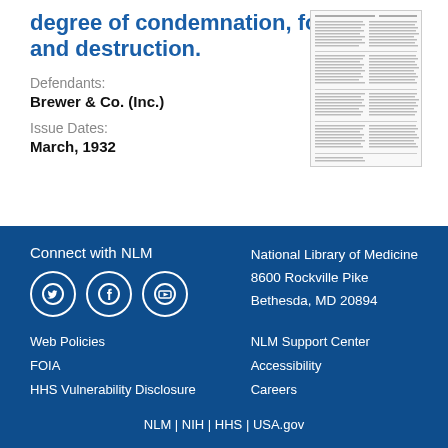decree of condemnation, forfeiture, and destruction.
Defendants:
Brewer & Co. (Inc.)
Issue Dates:
March, 1932
[Figure (other): Thumbnail image of a document page with dense text columns]
Connect with NLM
[Figure (other): Social media icons: Twitter, Facebook, YouTube in white circles on blue background]
Web Policies
FOIA
HHS Vulnerability Disclosure
National Library of Medicine
8600 Rockville Pike
Bethesda, MD 20894
NLM Support Center
Accessibility
Careers
NLM | NIH | HHS | USA.gov